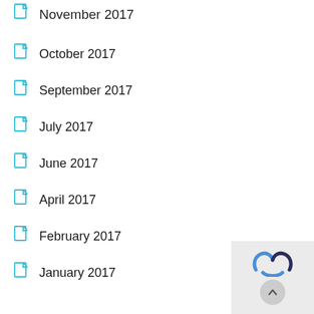November 2017
October 2017
September 2017
July 2017
June 2017
April 2017
February 2017
January 2017